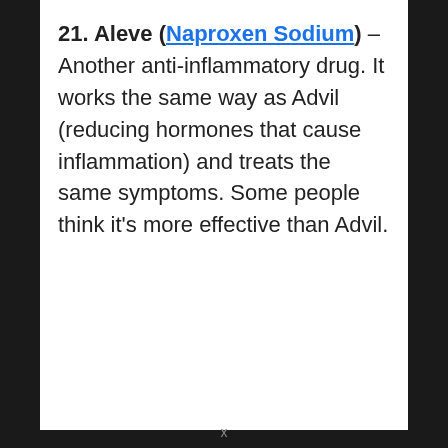21. Aleve (Naproxen Sodium) – Another anti-inflammatory drug. It works the same way as Advil (reducing hormones that cause inflammation) and treats the same symptoms. Some people think it's more effective than Advil.